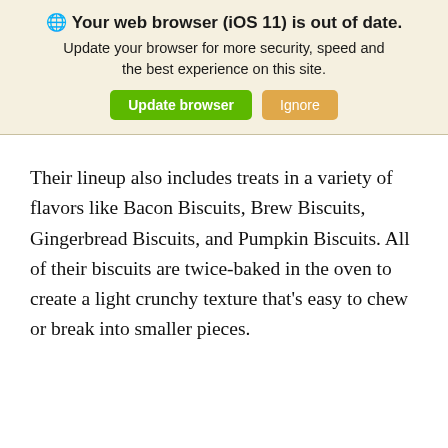🌐 Your web browser (iOS 11) is out of date. Update your browser for more security, speed and the best experience on this site. [Update browser] [Ignore]
Their lineup also includes treats in a variety of flavors like Bacon Biscuits, Brew Biscuits, Gingerbread Biscuits, and Pumpkin Biscuits. All of their biscuits are twice-baked in the oven to create a light crunchy texture that's easy to chew or break into smaller pieces.